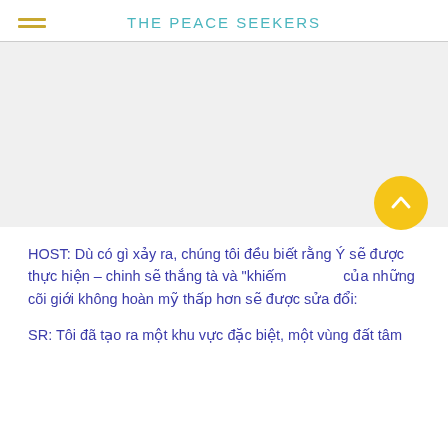THE PEACE SEEKERS
[Figure (photo): Large image placeholder occupying the upper middle portion of the page]
HOST: Dù có gì xảy ra, chúng tôi đều biết rằng Ý sẽ được thực hiện – chinh sẽ thắng tà và "khiếm khuyết" của những cõi giới không hoàn mỹ thấp hơn sẽ được sửa đổi:
SR: Tôi đã tạo ra một khu vực đặc biệt, một vùng đất tâm